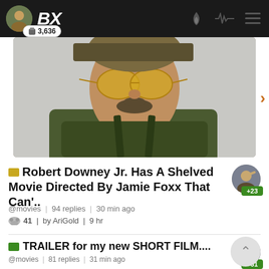BX | 3,636
[Figure (photo): Close-up photo of Robert Downey Jr. wearing yellow tinted glasses and military-style gear]
Robert Downey Jr. Has A Shelved Movie Directed By Jamie Foxx That Can'..
@movies | 94 replies | 30 min ago
41 | by AriGold | 9 hr
TRAILER for my new SHORT FILM....
@movies | 81 replies | 31 min ago
2 | by patt24 | 10 mon
most viewed right now...